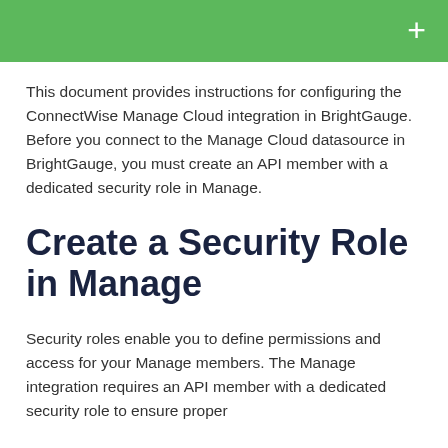+
This document provides instructions for configuring the ConnectWise Manage Cloud integration in BrightGauge. Before you connect to the Manage Cloud datasource in BrightGauge, you must create an API member with a dedicated security role in Manage.
Create a Security Role in Manage
Security roles enable you to define permissions and access for your Manage members. The Manage integration requires an API member with a dedicated security role to ensure proper